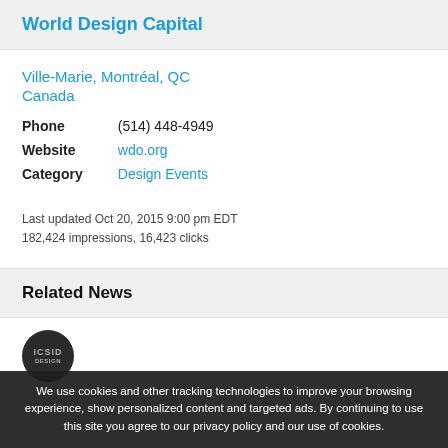World Design Capital
Ville-Marie, Montréal, QC
Canada
Phone   (514) 448-4949
Website   wdo.org
Category   Design Events
Last updated Oct 20, 2015 9:00 pm EDT
182,424 impressions, 16,423 clicks
Related News
We use cookies and other tracking technologies to improve your browsing experience, show personalized content and targeted ads. By continuing to use this site you agree to our privacy policy and our use of cookies.